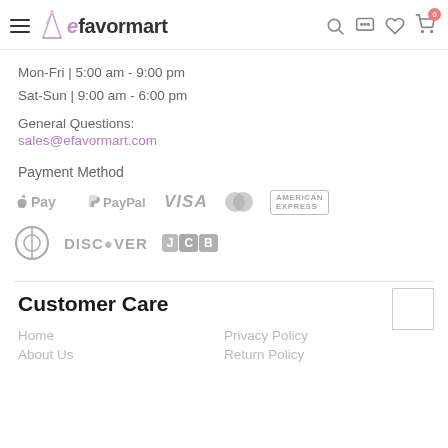efavormart — navigation header with hamburger menu, logo, search, chat, wishlist, cart (0)
Mon-Fri | 5:00 am - 9:00 pm
Sat-Sun | 9:00 am - 6:00 pm
General Questions:
sales@efavormart.com
Payment Method
[Figure (logo): Payment method logos: Apple Pay, PayPal, VISA, Mastercard, American Express, Diners Club, Discover, JCB — all in grey]
Customer Care
Home
Privacy Policy
About Us
Return Policy